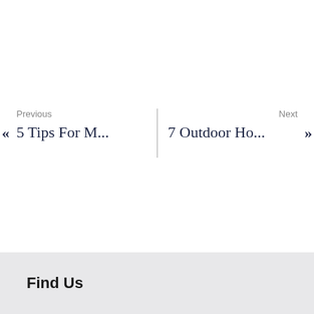« Previous 5 Tips For M... | Next 7 Outdoor Ho... »
Find Us